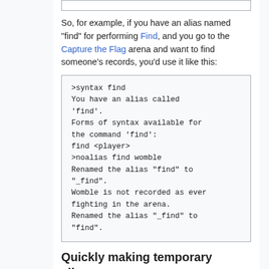So, for example, if you have an alias named "find" for performing Find, and you go to the Capture the Flag arena and want to find someone's records, you'd use it like this:
[Figure (screenshot): Code block showing terminal interaction with syntax find, alias resolution, noalias command, and alias renaming messages]
Quickly making temporary aliases
Occasionally you may want to perform several commands right after each other without making a permanent alias for it. In that case, something like this is helpful: